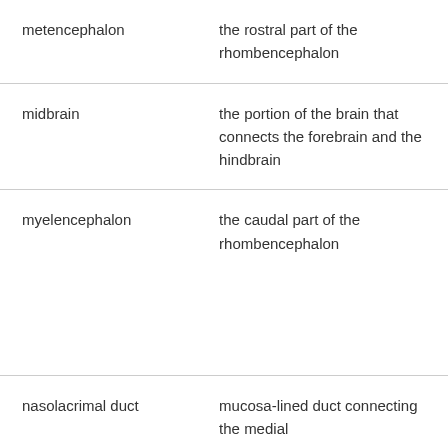| metencephalon | the rostral part of the rhombencephalon |
| midbrain | the portion of the brain that connects the forebrain and the hindbrain |
| myelencephalon | the caudal part of the rhombencephalon |
| nasolacrimal duct | mucosa-lined duct connecting the medial |